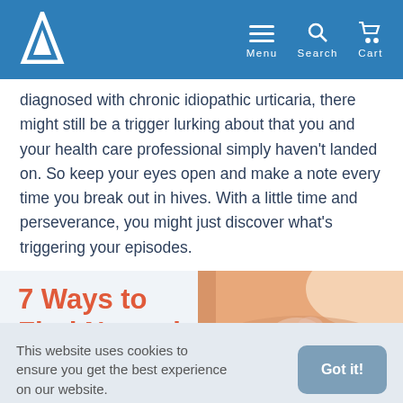Menu  Search  Cart
diagnosed with chronic idiopathic urticaria, there might still be a trigger lurking about that you and your health care professional simply haven't landed on. So keep your eyes open and make a note every time you break out in hives. With a little time and perseverance, you might just discover what's triggering your episodes.
7 Ways to Find Natural
[Figure (photo): Close-up photo of skin showing hives or urticaria rash on a person's back/torso]
This website uses cookies to ensure you get the best experience on our website.